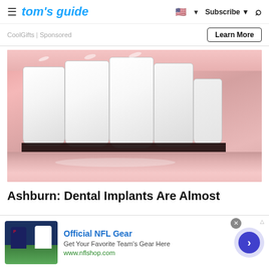tom's guide | Subscribe | Search
CoolGifts | Sponsored
Learn More
[Figure (photo): Close-up photograph of a person's open mouth showing white dental implants/teeth against pink lips and gums]
Ashburn: Dental Implants Are Almost
Official NFL Gear
Get Your Favorite Team's Gear Here
www.nflshop.com